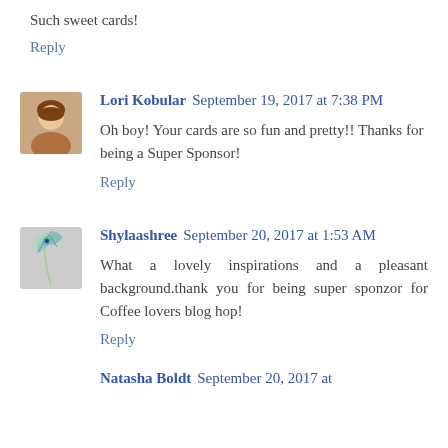Such sweet cards!
Reply
Lori Kobular  September 19, 2017 at 7:38 PM
Oh boy!  Your cards are so fun and pretty!!  Thanks for being a Super Sponsor!
Reply
Shylaashree  September 20, 2017 at 1:53 AM
What a lovely inspirations and a pleasant background.thank you for being super sponzor for Coffee lovers blog hop!
Reply
Natasha Boldt  September 20, 2017 at